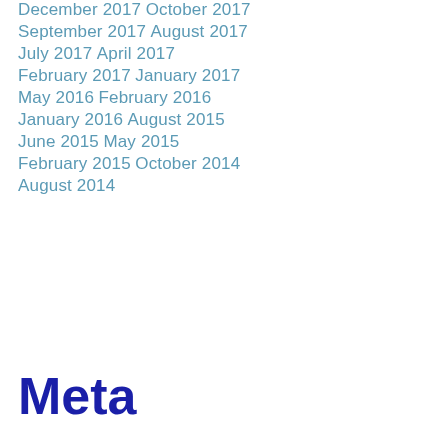December 2017
October 2017
September 2017
August 2017
July 2017
April 2017
February 2017
January 2017
May 2016
February 2016
January 2016
August 2015
June 2015
May 2015
February 2015
October 2014
August 2014
Meta